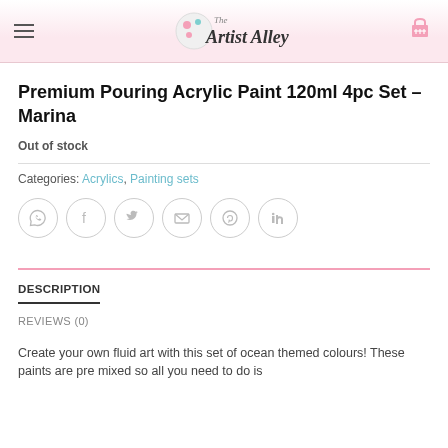The Artist Alley
Premium Pouring Acrylic Paint 120ml 4pc Set – Marina
Out of stock
Categories: Acrylics, Painting sets
[Figure (other): Social share icons row: WhatsApp, Facebook, Twitter, Email, Pinterest, LinkedIn — circular grey outlined icons]
DESCRIPTION
REVIEWS (0)
Create your own fluid art with this set of ocean themed colours! These paints are pre mixed so all you need to do is